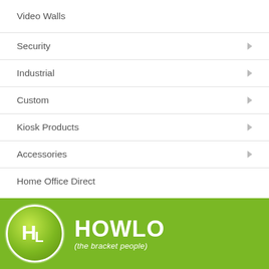Video Walls
Security
Industrial
Custom
Kiosk Products
Accessories
Home Office Direct
[Figure (logo): Howlo (the bracket people) logo — circular green gradient icon with 'HL' letters, on a green background with company name HOWLO in white bold text and tagline '(the bracket people)' in white italic below]